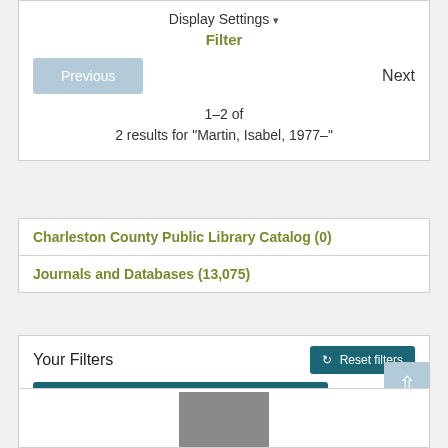Display Settings ▾
Filter
Previous
Next
1–2 of
2 results for "Martin, Isabel, 1977–"
Charleston County Public Library Catalog (0)
Journals and Databases (13,075)
Your Filters
Reset filters
Publication : columbia electronic encyclopedia,
... more filters